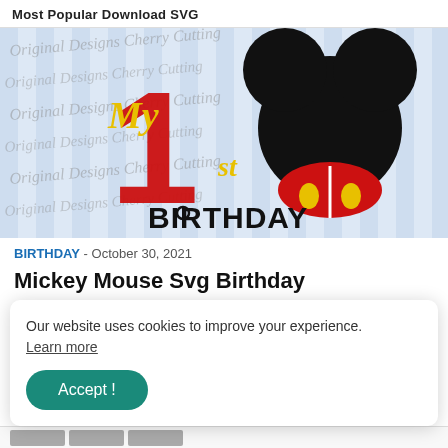Most Popular Download SVG
[Figure (illustration): Mickey Mouse 1st Birthday SVG design on light blue striped background with watermark text 'Original Designs Cherry Cutting'. Shows red number 1 with 'My 1st Birthday' text and Mickey Mouse head with red pants and yellow buttons.]
BIRTHDAY - October 30, 2021
Mickey Mouse Svg Birthday
Hair Stylist Svg Files
Our website uses cookies to improve your experience. Learn more
Accept !